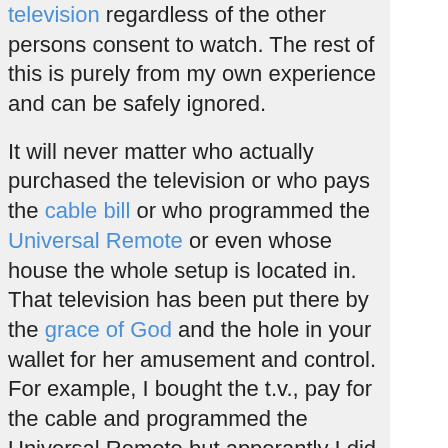television regardless of the other persons consent to watch. The rest of this is purely from my own experience and can be safely ignored.
It will never matter who actually purchased the television or who pays the cable bill or who programmed the Universal Remote or even whose house the whole setup is located in. That television has been put there by the grace of God and the hole in your wallet for her amusement and control. For example, I bought the t.v., pay for the cable and programmed the Universal Remote but apperantly I did all of this for her benefit alone and never shall the remote and my hand meet.